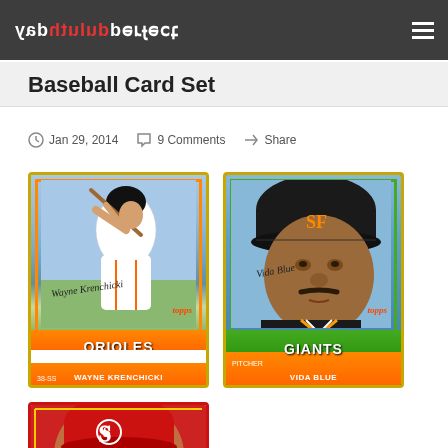perfectduluthday
Baseball Card Set
Jan 29, 2014 · 9 Comments · Share
[Figure (photo): 1982 Topps baseball card of Wayne Krenchicki - Orioles]
[Figure (photo): 1982 Topps baseball card of Vida Blue - Giants Pitcher]
[Figure (photo): Partial baseball card showing Cardinals player with red cap]